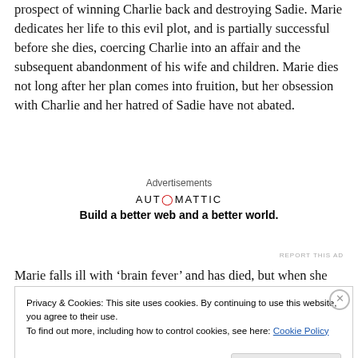prospect of winning Charlie back and destroying Sadie. Marie dedicates her life to this evil plot, and is partially successful before she dies, coercing Charlie into an affair and the subsequent abandonment of his wife and children. Marie dies not long after her plan comes into fruition, but her obsession with Charlie and her hatred of Sadie have not abated.
Advertisements
[Figure (logo): Automattic logo with tagline: Build a better web and a better world.]
REPORT THIS AD
Marie falls ill with ‘brain fever’ and has died, but when she
Privacy & Cookies: This site uses cookies. By continuing to use this website, you agree to their use.
To find out more, including how to control cookies, see here: Cookie Policy